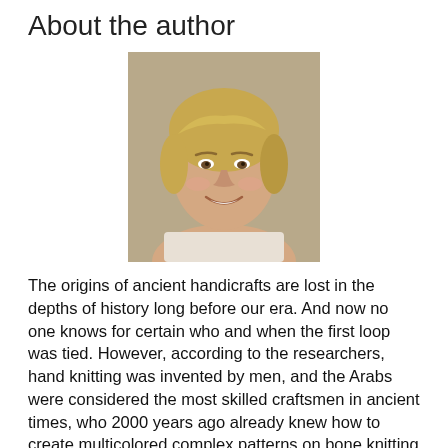About the author
[Figure (photo): Portrait photo of a young woman with short blonde hair, smiling, against a beige/brown background.]
The origins of ancient handicrafts are lost in the depths of history long before our era. And now no one knows for certain who and when the first loop was tied. However, according to the researchers, hand knitting was invented by men, and the Arabs were considered the most skilled craftsmen in ancient times, who 2000 years ago already knew how to create multicolored complex patterns on bone knitting needles and possessed many knitting secrets.